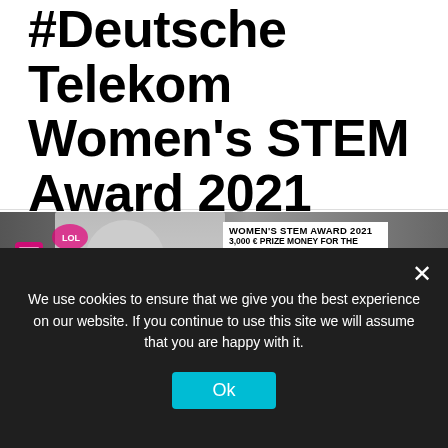#Deutsche Telekom Women's STEM Award 2021
[Figure (photo): Promotional banner for the Deutsche Telekom Women's STEM Award 2021 (Frauen-MINT-Award 2021). A grayscale photo of a young woman holding a smartphone with various pink tech icons around her. Text overlay says: WOMEN'S STEM AWARD 2021, 3,000 € PRIZE MONEY FOR THE BEST INTERNATIONAL STEM THESIS. Bottom banners in black and pink say: FRAUEN-MINT-AWARD 2021, BESTE ABSCHLUSSARBEIT GESUCHT, 3.000 € SIEGERPRAMIE.]
We use cookies to ensure that we give you the best experience on our website. If you continue to use this site we will assume that you are happy with it.